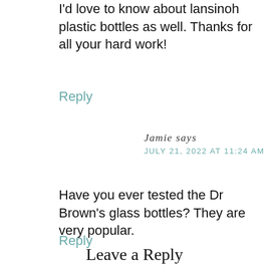I'd love to know about lansinoh plastic bottles as well. Thanks for all your hard work!
Reply
Jamie says
JULY 21, 2022 AT 11:24 AM
Have you ever tested the Dr Brown's glass bottles? They are very popular.
Reply
Leave a Reply